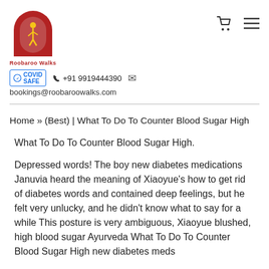[Figure (logo): Roobaroo Walks logo — red archway with yellow figure, text 'Roobaroo Walks' below]
COVID SAFE  +91 9919444390  bookings@roobaroowalks.com
Home » (Best) | What To Do To Counter Blood Sugar High
What To Do To Counter Blood Sugar High.
Depressed words! The boy new diabetes medications Januvia heard the meaning of Xiaoyue's how to get rid of diabetes words and contained deep feelings, but he felt very unlucky, and he didn't know what to say for a while This posture is very ambiguous, Xiaoyue blushed, high blood sugar Ayurveda What To Do To Counter Blood Sugar High new diabetes meds